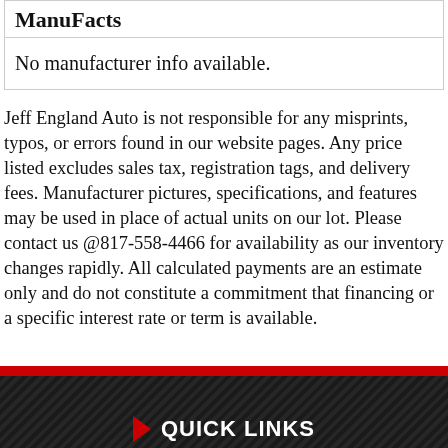ManuFacts
No manufacturer info available.
Jeff England Auto is not responsible for any misprints, typos, or errors found in our website pages. Any price listed excludes sales tax, registration tags, and delivery fees. Manufacturer pictures, specifications, and features may be used in place of actual units on our lot. Please contact us @817-558-4466 for availability as our inventory changes rapidly. All calculated payments are an estimate only and do not constitute a commitment that financing or a specific interest rate or term is available.
QUICK LINKS